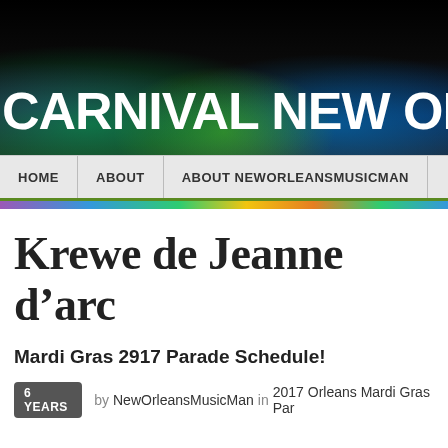[Figure (screenshot): Website banner with dark background and colorful gradient bottom strip, showing 'CARNIVAL NEW ORLEANS NEW' text in large white bold letters]
HOME   ABOUT   ABOUT NEWORLEANSMUSICMAN
Krewe de Jeanne d’arc
Mardi Gras 2917 Parade Schedule!
6 YEARS   by NewOrleansMusicMan in 2017 Orleans Mardi Gras Par